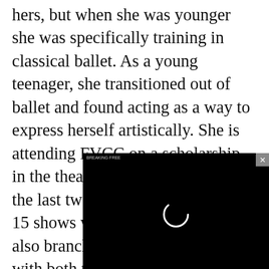hers, but when she was younger she was specifically training in classical ballet. As a young teenager, she transitioned out of ballet and found acting as a way to express herself artistically. She is attending FVCC on a scholarship in the theater department and over the last two years has been in over 15 shows with the college. She's also branched out and has worked with both the Alpine Theatre Project and Whitefish Theatre Company.
Brooks moved to t[he area when she was] 10 years old and w[as introduced to] art and dance. In m[ore recent years...]
[Figure (screenshot): A video player overlay showing a black background with a loading spinner ring in the center and a small label in the top left. A close (x) button is in the top right corner.]